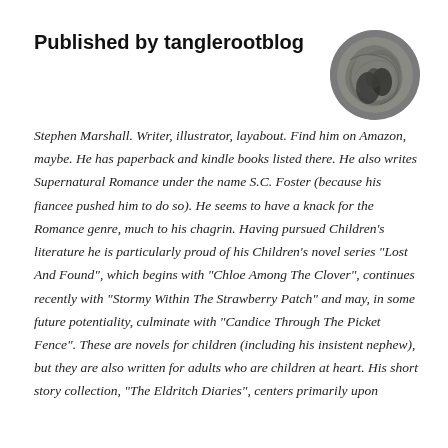Published by tanglerootblog
[Figure (photo): Circular profile photo showing a dark grey/brown abstract swirling illustration, resembling a bird or creature shape.]
Stephen Marshall. Writer, illustrator, layabout. Find him on Amazon, maybe. He has paperback and kindle books listed there. He also writes Supernatural Romance under the name S.C. Foster (because his fiancee pushed him to do so). He seems to have a knack for the Romance genre, much to his chagrin. Having pursued Children's literature he is particularly proud of his Children's novel series "Lost And Found", which begins with "Chloe Among The Clover", continues recently with "Stormy Within The Strawberry Patch" and may, in some future potentiality, culminate with "Candice Through The Picket Fence". These are novels for children (including his insistent nephew), but they are also written for adults who are children at heart. His short story collection, "The Eldritch Diaries", centers primarily upon